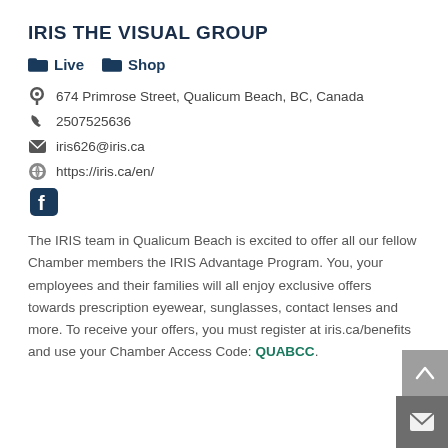IRIS THE VISUAL GROUP
Live  Shop
674 Primrose Street, Qualicum Beach, BC, Canada
2507525636
iris626@iris.ca
https://iris.ca/en/
[Figure (logo): Facebook icon square logo]
The IRIS team in Qualicum Beach is excited to offer all our fellow Chamber members the IRIS Advantage Program. You, your employees and their families will all enjoy exclusive offers towards prescription eyewear, sunglasses, contact lenses and more. To receive your offers, you must register at iris.ca/benefits and use your Chamber Access Code: QUABCC.